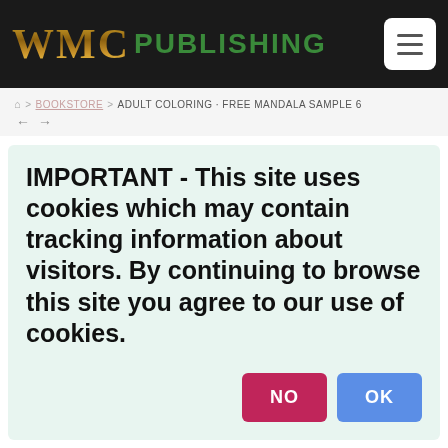WMC PUBLISHING
⌂ > BOOKSTORE > ADULT COLORING · FREE MANDALA SAMPLE 6
IMPORTANT - This site uses cookies which may contain tracking information about visitors. By continuing to browse this site you agree to our use of cookies.